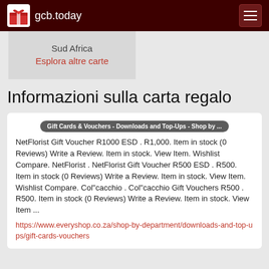gcb.today
Sud Africa
Esplora altre carte
Informazioni sulla carta regalo
Gift Cards & Vouchers - Downloads and Top-Ups - Shop by ...
NetFlorist Gift Voucher R1000 ESD . R1,000. Item in stock (0 Reviews) Write a Review. Item in stock. View Item. Wishlist Compare. NetFlorist . NetFlorist Gift Voucher R500 ESD . R500. Item in stock (0 Reviews) Write a Review. Item in stock. View Item. Wishlist Compare. Col"cacchio . Col"cacchio Gift Vouchers R500 . R500. Item in stock (0 Reviews) Write a Review. Item in stock. View Item ...
https://www.everyshop.co.za/shop-by-department/downloads-and-top-ups/gift-cards-vouchers